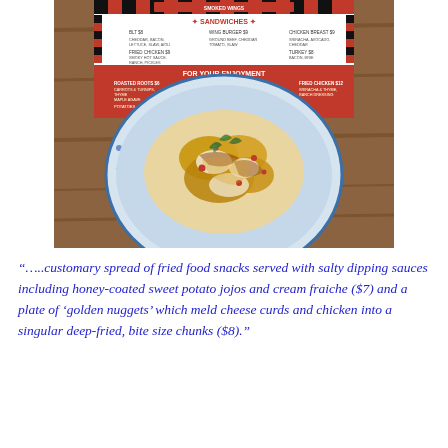[Figure (photo): A photograph of a blue and white patterned bowl containing fried food (golden nuggets/chicken) topped with herbs and sauce, placed on a wooden table. Behind the bowl is a restaurant menu with red and white design showing 'SANDWICHES' and 'FOR YOUR ENJOYMENT' sections.]
“…..customary spread of fried food snacks served with salty dipping sauces including honey-coated sweet potato jojos and cream fraiche ($7) and a plate of ‘golden nuggets’ which meld cheese curds and chicken into a singular deep-fried, bite size chunks ($8).”